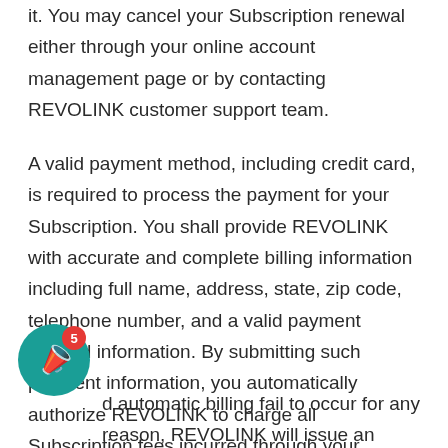it. You may cancel your Subscription renewal either through your online account management page or by contacting REVOLINK customer support team.
A valid payment method, including credit card, is required to process the payment for your Subscription. You shall provide REVOLINK with accurate and complete billing information including full name, address, state, zip code, telephone number, and a valid payment method information. By submitting such payment information, you automatically authorize REVOLINK to charge all Subscription fees incurred through your account to any such payment instruments.
d automatic billing fail to occur for any reason, REVOLINK will issue an electronic invoice